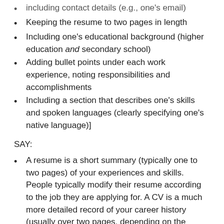including contact details (e.g., ones email)
Keeping the resume to two pages in length
Including one's educational background (higher education and secondary school)
Adding bullet points under each work experience, noting responsibilities and accomplishments
Including a section that describes one's skills and spoken languages (clearly specifying one's native language)]
SAY:
A resume is a short summary (typically one to two pages) of your experiences and skills. People typically modify their resume according to the job they are applying for. A CV is a much more detailed record of your career history (usually over two pages, depending on the length of someone's career) that stays the same as you apply for different jobs.
ASK:
Has anyone ever created a resume? If so, what was